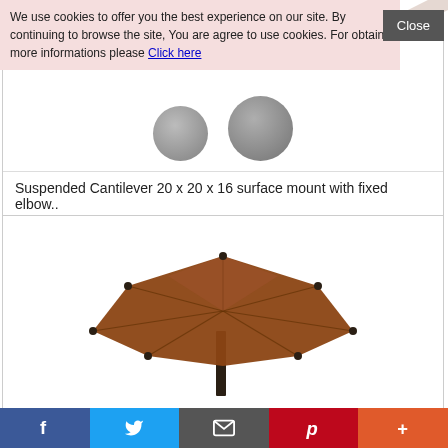We use cookies to offer you the best experience on our site. By continuing to browse the site, You are agree to use cookies. For obtain more informations please Click here
[Figure (illustration): Two gray spherical/circular shapes partially visible at top of product card]
Suspended Cantilever 20 x 20 x 16 surface mount with fixed elbow..
[Figure (illustration): 3D rendering of a brown/tan hexagonal patio umbrella with a dark pole, viewed from a slight angle above]
f  (Facebook share button)
Twitter share button
Email share button
Pinterest share button
+ (More share button)